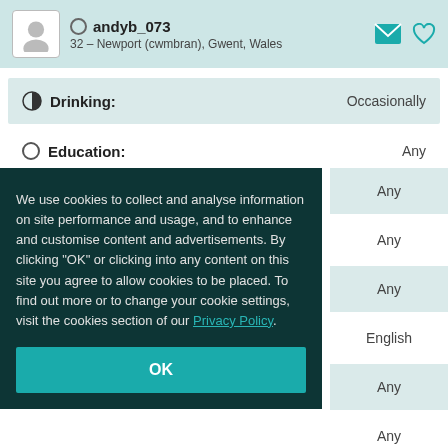andyb_073 — 32 – Newport (cwmbran), Gwent, Wales
Drinking: Occasionally
Education: Any
We use cookies to collect and analyse information on site performance and usage, and to enhance and customise content and advertisements. By clicking "OK" or clicking into any content on this site you agree to allow cookies to be placed. To find out more or to change your cookie settings, visit the cookies section of our Privacy Policy.
OK
Religion: Any